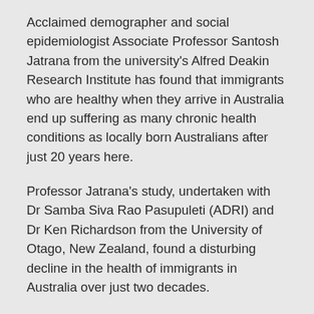Acclaimed demographer and social epidemiologist Associate Professor Santosh Jatrana from the university's Alfred Deakin Research Institute has found that immigrants who are healthy when they arrive in Australia end up suffering as many chronic health conditions as locally born Australians after just 20 years here.
Professor Jatrana's study, undertaken with Dr Samba Siva Rao Pasupuleti (ADRI) and Dr Ken Richardson from the University of Otago, New Zealand, found a disturbing decline in the health of immigrants in Australia over just two decades.
“These findings have important ramifications for countries with high migrant intakes, including Canada, the UK and the USA, and could impact on international immigration policies,” Professor Jatrana said.